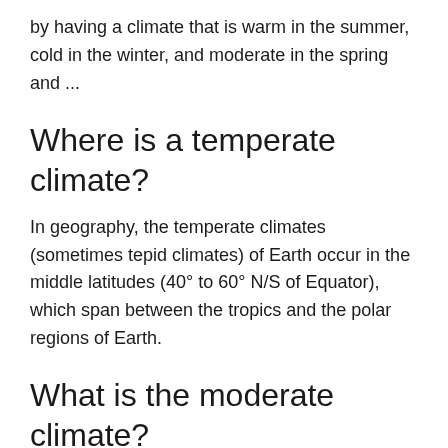by having a climate that is warm in the summer, cold in the winter, and moderate in the spring and ...
Where is a temperate climate?
In geography, the temperate climates (sometimes tepid climates) of Earth occur in the middle latitudes (40° to 60° N/S of Equator), which span between the tropics and the polar regions of Earth.
What is the moderate climate?
Answer. 93.3k+ views. Hint: Moderate